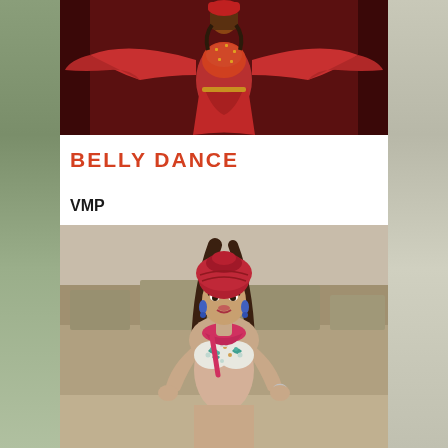[Figure (photo): A belly dancer wearing a red and gold costume, holding out red flowing fabric on both sides, photographed against a dark red/brown background.]
BELLY DANCE
VMP
[Figure (photo): A female belly dancer wearing a white decorated bra top, red/pink turban-style headwear, blue earrings, and a pink scarf around the neck, posing with hands on hips against a sandy/rocky outdoor background.]